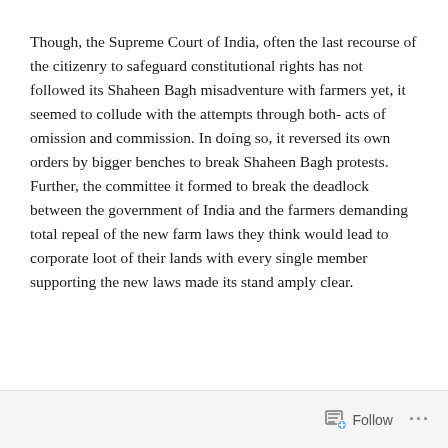Though, the Supreme Court of India, often the last recourse of the citizenry to safeguard constitutional rights has not followed its Shaheen Bagh misadventure with farmers yet, it seemed to collude with the attempts through both- acts of omission and commission. In doing so, it reversed its own orders by bigger benches to break Shaheen Bagh protests. Further, the committee it formed to break the deadlock between the government of India and the farmers demanding total repeal of the new farm laws they think would lead to corporate loot of their lands with every single member supporting the new laws made its stand amply clear.
Follow ...